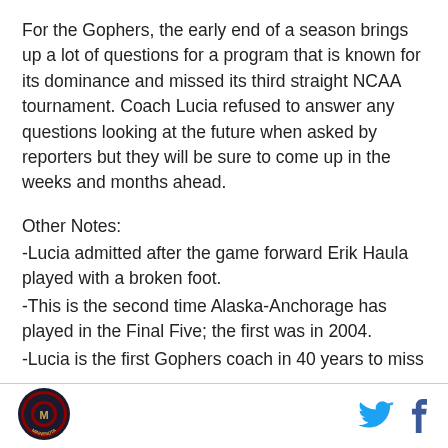For the Gophers, the early end of a season brings up a lot of questions for a program that is known for its dominance and missed its third straight NCAA tournament. Coach Lucia refused to answer any questions looking at the future when asked by reporters but they will be sure to come up in the weeks and months ahead.
Other Notes:
-Lucia admitted after the game forward Erik Haula played with a broken foot.
-This is the second time Alaska-Anchorage has played in the Final Five; the first was in 2004.
-Lucia is the first Gophers coach in 40 years to miss
[Figure (logo): Minnesota sports circular logo with red and dark background]